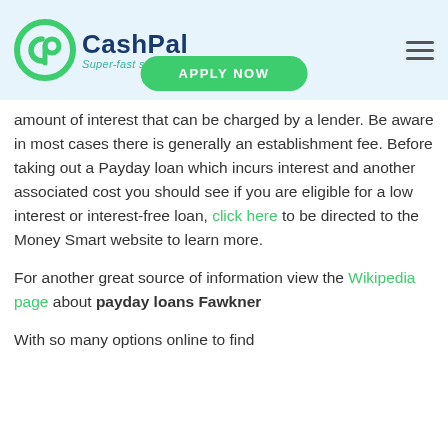CashPal — Super-fast same day loans
paydays loan is still very much used across
SACC's Payday loans are loans up to the amount of $[amount] cap on the amount of interest that can be charged by a lender. Be aware in most cases there is generally an establishment fee. Before taking out a Payday loan which incurs interest and another associated cost you should see if you are eligible for a low interest or interest-free loan, click here to be directed to the Money Smart website to learn more.
For another great source of information view the Wikipedia page about payday loans Fawkner
With so many options online to find